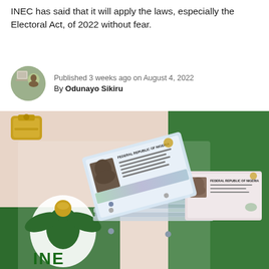INEC has said that it will apply the laws, especially the Electoral Act, of 2022 without fear.
Published 3 weeks ago on August 4, 2022
By Odunayo Sikiru
[Figure (photo): A stack of Nigerian voter identification cards (PVCs - Permanent Voter Cards) piled on a table with an INEC (Independent National Electoral Commission) logo/backdrop visible underneath, showing the green INEC eagle and text. A small gold decorative item is visible in the top left corner.]